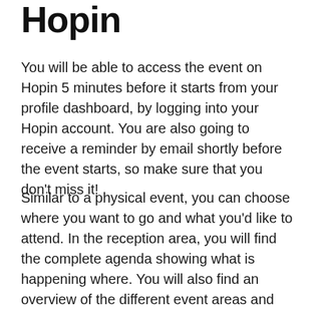Hopin
You will be able to access the event on Hopin 5 minutes before it starts from your profile dashboard, by logging into your Hopin account. You are also going to receive a reminder by email shortly before the event starts, so make sure that you don't miss it!
Similar to a physical event, you can choose where you want to go and what you'd like to attend. In the reception area, you will find the complete agenda showing what is happening where. You will also find an overview of the different event areas and further details about the event.